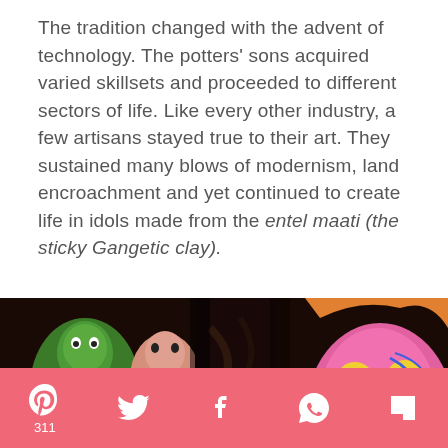The tradition changed with the advent of technology. The potters' sons acquired varied skillsets and proceeded to different sectors of life. Like every other industry, a few artisans stayed true to their art. They sustained many blows of modernism, land encroachment and yet continued to create life in idols made from the entel maati (the sticky Gangetic clay).
[Figure (photo): Photo of colorful Hindu deity idols in a workshop, with a young girl visible among the idols. The idols include green goddess figures and a roaring lion-faced deity in pink and orange on the right.]
Social sharing bar with Pinterest (311), Twitter, Facebook, WhatsApp, Flipboard icons